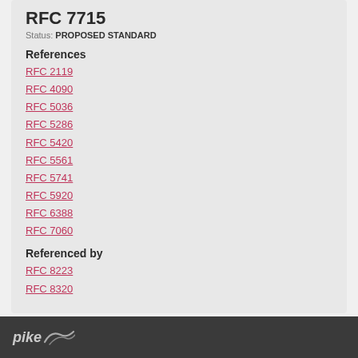RFC 7715
Status: PROPOSED STANDARD
References
RFC 2119
RFC 4090
RFC 5036
RFC 5286
RFC 5420
RFC 5561
RFC 5741
RFC 5920
RFC 6388
RFC 7060
Referenced by
RFC 8223
RFC 8320
pike [logo]